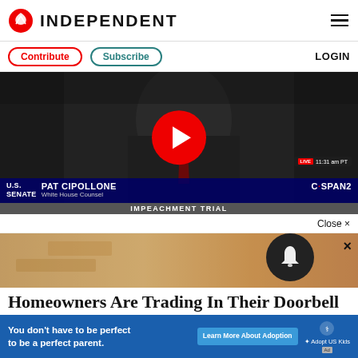INDEPENDENT
Contribute   Subscribe   LOGIN
[Figure (screenshot): Video player showing impeachment trial footage with Pat Cipollone, White House Counsel, on C-SPAN2. A red play button overlays the video. Lower third reads: U.S. SENATE | PAT CIPOLLONE White House Counsel | C-SPAN2 | IMPEACHMENT TRIAL | LIVE 11:31 am PT]
Close ×
[Figure (photo): Doorbell camera advertisement image showing a close-up of a wall-mounted smart doorbell camera on a stone/brick wall]
Homeowners Are Trading In Their Doorbell Cams For This
You don't have to be perfect to be a perfect parent.   Learn More About Adoption   Adopt US Kids   Ad